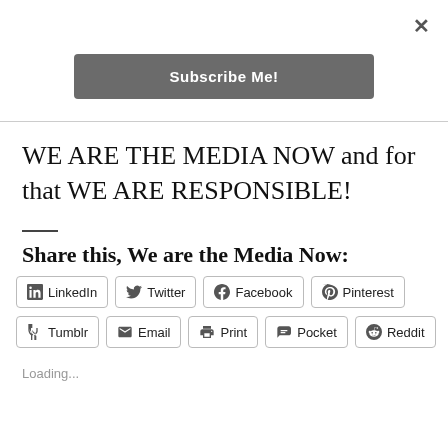[Figure (other): Close button (X) in top right corner]
[Figure (other): Subscribe Me! button — dark grey rounded rectangle]
WE ARE THE MEDIA NOW and for that WE ARE RESPONSIBLE!
Share this, We are the Media Now:
[Figure (other): Row of social share buttons: LinkedIn, Twitter, Facebook, Pinterest]
[Figure (other): Row of social share buttons: Tumblr, Email, Print, Pocket, Reddit]
Loading...